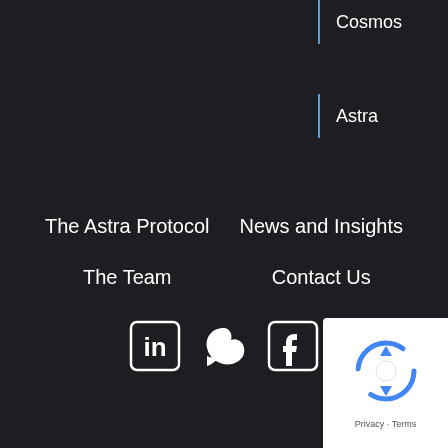Cosmos
Astra
The Astra Protocol
News and Insights
The Team
Contact Us
[Figure (infographic): Social media icons: LinkedIn, Twitter, Facebook]
[Figure (other): reCAPTCHA badge with Privacy and Terms text]